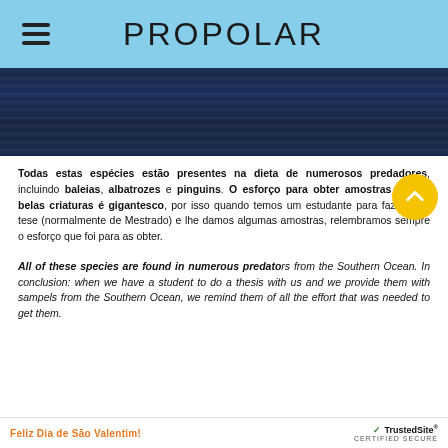PROPOLAR
[Figure (photo): Dark ocean water surface, Southern Ocean]
Todas estas espécies estão presentes na dieta de numerosos predadores, incluindo baleias, albatrozes e pinguins. O esforço para obter amostras destas belas criaturas é gigantesco, por isso quando temos um estudante para fazer uma tese (normalmente de Mestrado) e lhe damos algumas amostras, relembramos sempre o esforço que foi para as obter.
All of these species are found in numerous predators from the Southern Ocean. In conclusion: when we have a student to do a thesis with us and we provide them with sampels from the Southern Ocean, we remind them of all the effort that was needed to get them.
Feliz Dia de São Valentim! | TrustedSite CERTIFIED SECURE